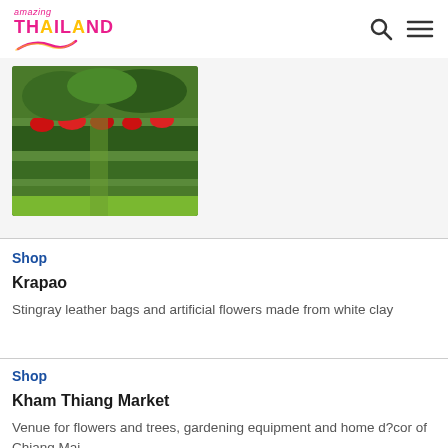amazing THAILAND
[Figure (photo): Garden with trimmed green hedges, red flowers, and lush green foliage]
Shop
Krapao
Stingray leather bags and artificial flowers made from white clay
Shop
Kham Thiang Market
Venue for flowers and trees, gardening equipment and home d?cor of Chiang Mai